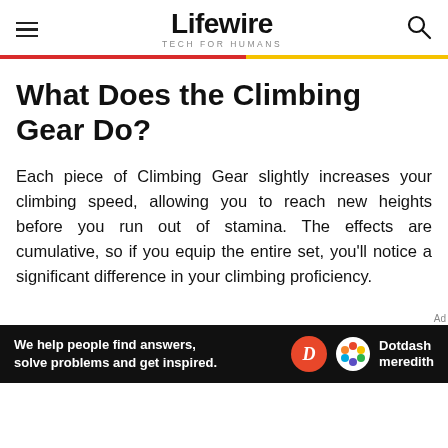Lifewire TECH FOR HUMANS
What Does the Climbing Gear Do?
Each piece of Climbing Gear slightly increases your climbing speed, allowing you to reach new heights before you run out of stamina. The effects are cumulative, so if you equip the entire set, you'll notice a significant difference in your climbing proficiency.
[Figure (infographic): Dotdash Meredith advertisement banner: 'We help people find answers, solve problems and get inspired.' with Dotdash Meredith logo on dark background.]